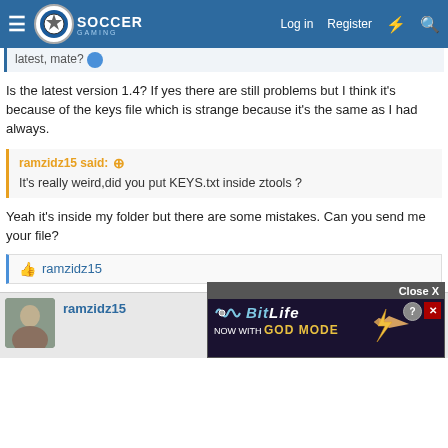Soccer Gaming - Log in | Register
latest, mate?
Is the latest version 1.4? If yes there are still problems but I think it's because of the keys file which is strange because it's the same as I had always.
ramzidz15 said: It's really weird,did you put KEYS.txt inside ztools ?
Yeah it's inside my folder but there are some mistakes. Can you send me your file?
ramzidz15
ramzidz15
[Figure (screenshot): BitLife advertisement banner with 'NOW WITH GOD MODE' text]